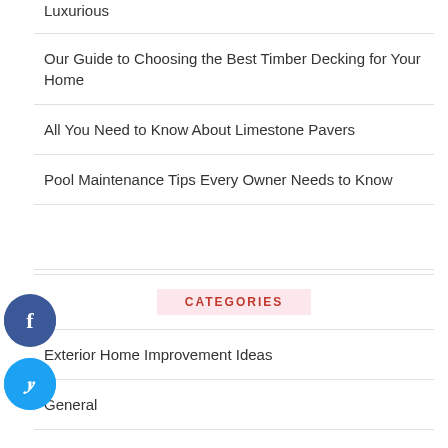Luxurious
Our Guide to Choosing the Best Timber Decking for Your Home
All You Need to Know About Limestone Pavers
Pool Maintenance Tips Every Owner Needs to Know
CATEGORIES
Exterior Home Improvement Ideas
General
Interior Home Improvement Ideas